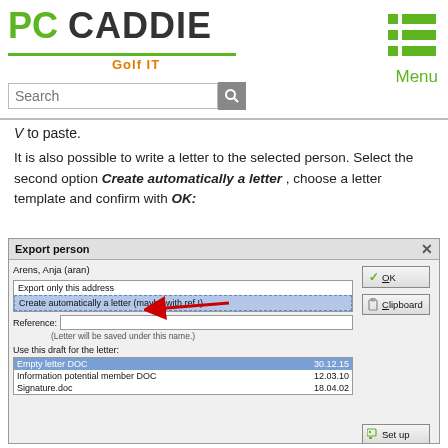PC CADDIE Golf IT
V to paste.
It is also possible to write a letter to the selected person. Select the second option Create automatically a letter , choose a letter template and confirm with OK:
[Figure (screenshot): Export person dialog box with options: 'Export only this address' and 'Create automatically a letter (maybe with ref.!)' highlighted and selected, Reference field, letter template list showing Empty letter DOC (30.12.15), Information potential member DOC (12.03.10), Signature.doc (18.04.02), and buttons OK, Clipboard, Set up on the right. A red arrow points to the selected option.]